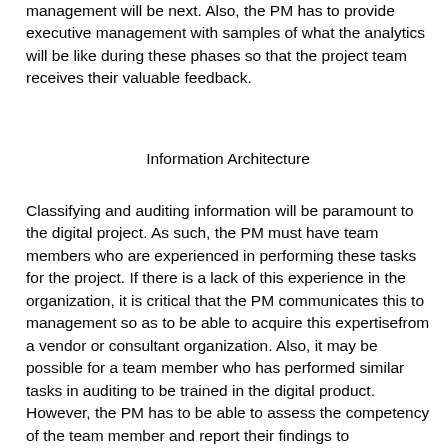management will be next.  Also, the PM has to provide executive management with samples of what the analytics will be like during these phases so that the project team receives their valuable feedback.
Information Architecture
Classifying and auditing information will be paramount to the digital project.  As such, the PM must have team members who are experienced in performing these tasks for the project.  If there is a lack of this experience in the organization, it is critical that the PM communicates this to management so as to be able to acquire this expertisefrom a vendor or consultant organization.  Also, it may be possible for a team member who has performed similar tasks in auditing to be trained in the digital product.  However, the PM has to be able to assess the competency of the team member and report their findings to management. If the team member needs a lot of training, this may be a risk to the project since these are critical path tasks. The PM must be able to show management that these tasks need more experience for the implementation and that hiring a third